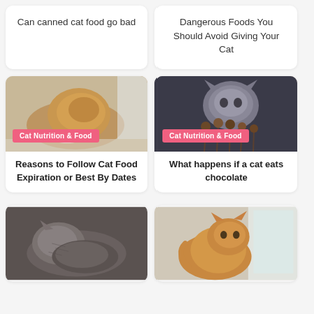Can canned cat food go bad
Dangerous Foods You Should Avoid Giving Your Cat
[Figure (photo): Orange fluffy cat eating from a decorative bowl on a light floor]
Cat Nutrition & Food
Reasons to Follow Cat Food Expiration or Best By Dates
[Figure (photo): Grey cat sniffing chocolate cake pops on sticks against dark background]
Cat Nutrition & Food
What happens if a cat eats chocolate
[Figure (photo): Sleeping grey tabby cat curled up]
[Figure (photo): Orange tabby cat sitting by a window]